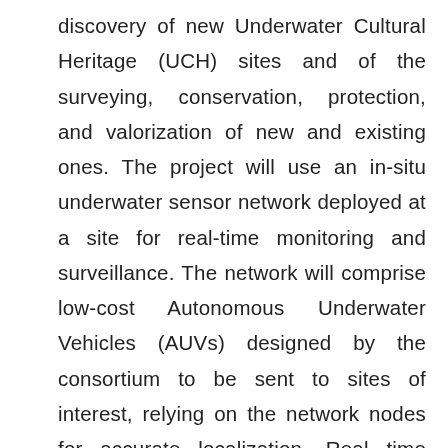discovery of new Underwater Cultural Heritage (UCH) sites and of the surveying, conservation, protection, and valorization of new and existing ones. The project will use an in-situ underwater sensor network deployed at a site for real-time monitoring and surveillance. The network will comprise low-cost Autonomous Underwater Vehicles (AUVs) designed by the consortium to be sent to sites of interest, relying on the network nodes for accurate localization. Real time communication of multimedia data will be one of the outcomes of this project. The system will also provide localization services for divers equipped with underwater modems and tablets with information on the UCH site for a more